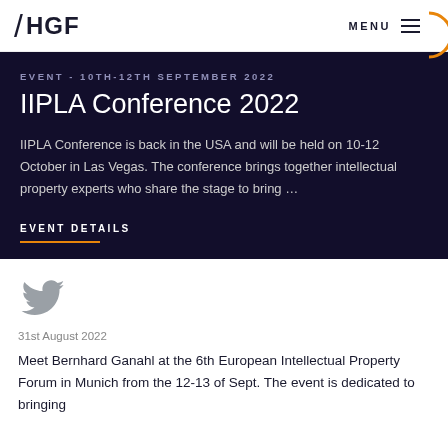/HGF  MENU
EVENT - 10TH-12TH SEPTEMBER 2022
IIPLA Conference 2022
IIPLA Conference is back in the USA and will be held on 10-12 October in Las Vegas. The conference brings together intellectual property experts who share the stage to bring …
EVENT DETAILS
[Figure (logo): Twitter bird icon in grey]
31st August 2022
Meet Bernhard Ganahl at the 6th European Intellectual Property Forum in Munich from the 12-13 of Sept. The event is dedicated to bringing